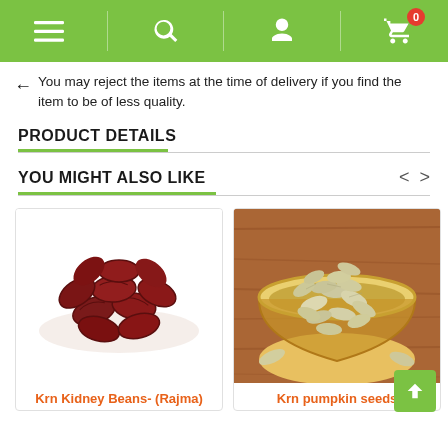Navigation bar with menu, search, account, and cart (0) icons
You may reject the items at the time of delivery if you find the item to be of less quality.
PRODUCT DETAILS
YOU MIGHT ALSO LIKE
[Figure (photo): Photo of a pile of red kidney beans (Rajma) on white background]
Krn Kidney Beans- (Rajma)
[Figure (photo): Photo of a bowl filled with pumpkin seeds on a wooden surface]
Krn pumpkin seeds